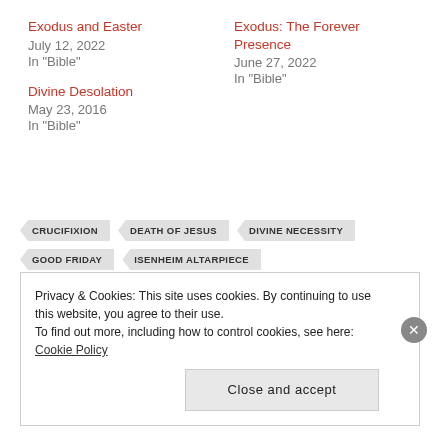Exodus and Easter
July 12, 2022
In "Bible"
Exodus: The Forever Presence
June 27, 2022
In "Bible"
Divine Desolation
May 23, 2016
In "Bible"
CRUCIFIXION
DEATH OF JESUS
DIVINE NECESSITY
GOOD FRIDAY
ISENHEIM ALTARPIECE
Privacy & Cookies: This site uses cookies. By continuing to use this website, you agree to their use.
To find out more, including how to control cookies, see here: Cookie Policy